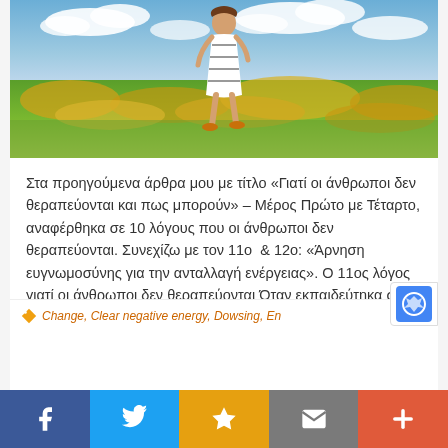[Figure (photo): Woman in striped dress walking/jumping in a yellow flower field under blue sky with white clouds]
Στα προηγούμενα άρθρα μου με τίτλο «Γιατί οι άνθρωποι δεν θεραπεύονται και πως μπορούν» – Μέρος Πρώτο με Τέταρτο, αναφέρθηκα σε 10 λόγους που οι άνθρωποι δεν θεραπεύονται. Συνεχίζω με τον 11ο  & 12ο: «Άρνηση ευγνωμοσύνης για την ανταλλαγή ενέργειας». Ο 11ος λόγος γιατί οι άνθρωποι δεν θεραπεύονται Όταν εκπαιδεύτηκα στην θεραπεία SRT, δεν μου…  Read more »
Change, Clear negative energy, Dowsing, En...